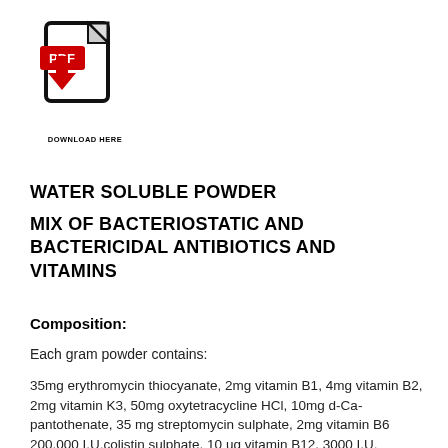[Figure (illustration): PDF download icon with red 'PDF' label on a document icon with a red downward arrow, and 'DOWNLOAD HERE' text below]
WATER SOLUBLE POWDER
MIX OF BACTERIOSTATIC AND BACTERICIDAL ANTIBIOTICS AND VITAMINS
Composition:
Each gram powder contains:
35mg erythromycin thiocyanate, 2mg vitamin B1, 4mg vitamin B2, 2mg vitamin K3, 50mg oxytetracycline HCl, 10mg d-Ca-pantothenate, 35 mg streptomycin sulphate, 2mg vitamin B6 200,000 I.U.colistin sulphate, 10 ug vitamin B12, 3000 I.U.